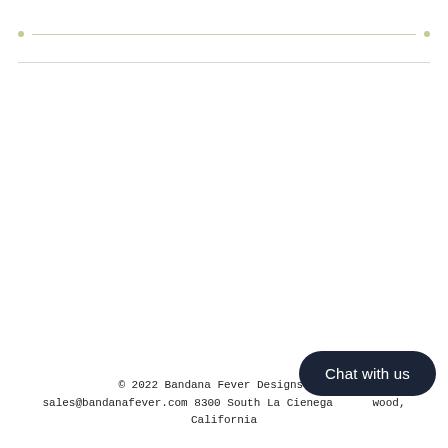© 2022 Bandana Fever Designs All sales@bandanafever.com 8300 South La Cienega wood, California